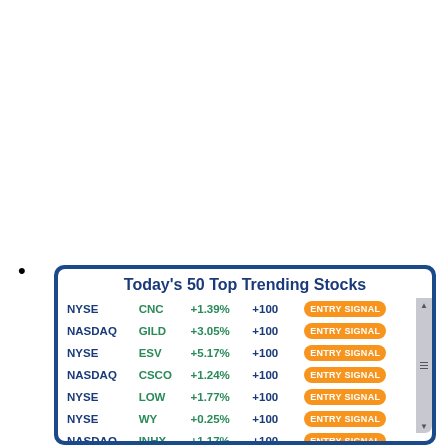•
Today's 50 Top Trending Stocks
| Exchange | Ticker | Change% | Signal | Action |
| --- | --- | --- | --- | --- |
| NYSE | CNC | +1.39% | +100 | ENTRY SIGNAL |
| NASDAQ | GILD | +3.05% | +100 | ENTRY SIGNAL |
| NYSE | ESV | +5.17% | +100 | ENTRY SIGNAL |
| NASDAQ | CSCO | +1.24% | +100 | ENTRY SIGNAL |
| NYSE | LOW | +1.77% | +100 | ENTRY SIGNAL |
| NYSE | WY | +0.25% | +100 | ENTRY SIGNAL |
| NASDAQ | INHX | +1.17% | +100 | ENTRY SIGNAL |